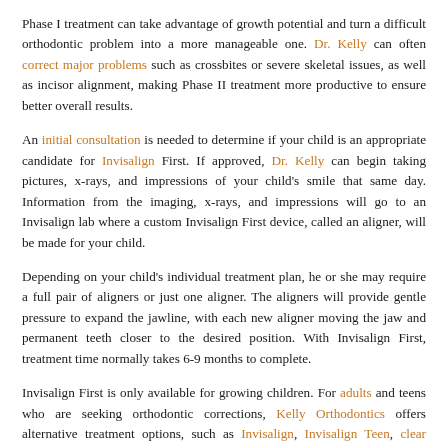Phase I treatment can take advantage of growth potential and turn a difficult orthodontic problem into a more manageable one. Dr. Kelly can often correct major problems such as crossbites or severe skeletal issues, as well as incisor alignment, making Phase II treatment more productive to ensure better overall results.
An initial consultation is needed to determine if your child is an appropriate candidate for Invisalign First. If approved, Dr. Kelly can begin taking pictures, x-rays, and impressions of your child's smile that same day. Information from the imaging, x-rays, and impressions will go to an Invisalign lab where a custom Invisalign First device, called an aligner, will be made for your child.
Depending on your child's individual treatment plan, he or she may require a full pair of aligners or just one aligner. The aligners will provide gentle pressure to expand the jawline, with each new aligner moving the jaw and permanent teeth closer to the desired position. With Invisalign First, treatment time normally takes 6-9 months to complete.
Invisalign First is only available for growing children. For adults and teens who are seeking orthodontic corrections, Kelly Orthodontics offers alternative treatment options, such as Invisalign, Invisalign Teen, clear ceramic braces, and traditional metal braces. Visit our website to choose your look.